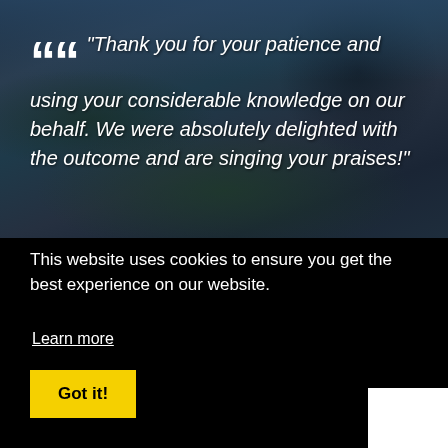[Figure (photo): Dark outdoor landscape photo showing a pond or water feature with trees and sky in the background, heavily darkened/tinted]
“Thank you for your patience and using your considerable knowledge on our behalf. We were absolutely delighted with the outcome and are singing your praises!”
This website uses cookies to ensure you get the best experience on our website.
Learn more
Got it!